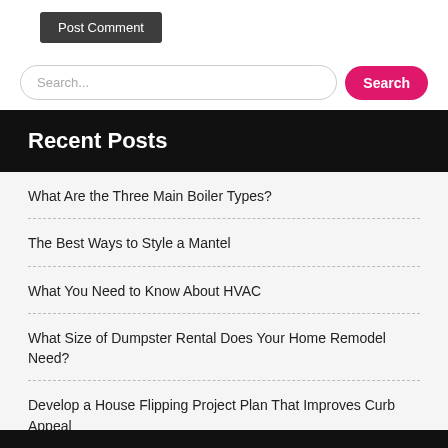Post Comment
Search...
Search
Recent Posts
What Are the Three Main Boiler Types?
The Best Ways to Style a Mantel
What You Need to Know About HVAC
What Size of Dumpster Rental Does Your Home Remodel Need?
Develop a House Flipping Project Plan That Improves Curb Appeal